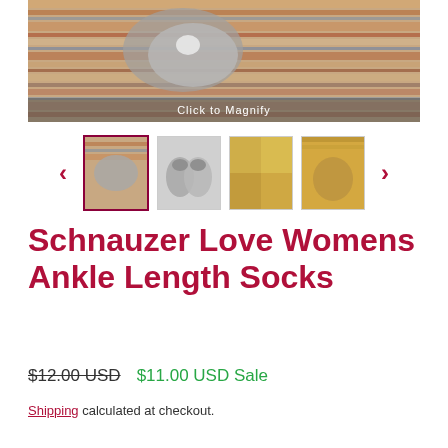[Figure (photo): Main product photo showing Schnauzer socks on a striped fabric background with 'Click to Magnify' overlay bar]
[Figure (photo): Thumbnail carousel with 4 product photos and left/right navigation arrows. First thumbnail is selected with dark red border.]
Schnauzer Love Womens Ankle Length Socks
$12.00 USD  $11.00 USD Sale
Shipping calculated at checkout.